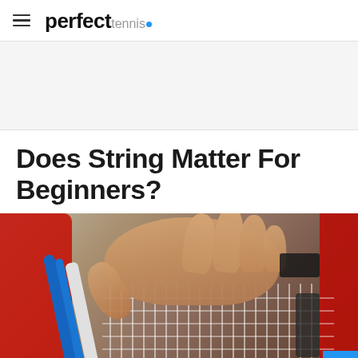perfect tennis.
Does String Matter For Beginners?
[Figure (photo): Close-up photo of a person's hand stringing a tennis racket on a stringing machine. The racket has white strings partially installed. The machine has red clamps/parts visible. A blue cable is visible on the left side of the racket frame.]